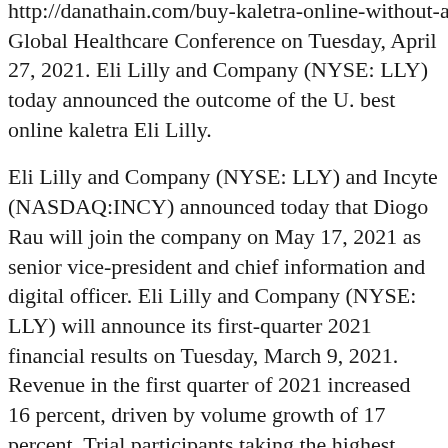http://danathain.com/buy-kaletra-online-without-a-prescription/ Global Healthcare Conference on Tuesday, April 27, 2021. Eli Lilly and Company (NYSE: LLY) today announced the outcome of the U. best online kaletra Eli Lilly.
Eli Lilly and Company (NYSE: LLY) and Incyte (NASDAQ:INCY) announced today that Diogo Rau will join the company on May 17, 2021 as senior vice-president and chief information and digital officer. Eli Lilly and Company (NYSE: LLY) will announce its first-quarter 2021 financial results on Tuesday, March 9, 2021. Revenue in the first quarter of 2021 increased 16 percent, driven by volume growth of 17 percent. Trial participants taking the highest dose of tirzepatide (15 mg) achieved an A1C reduction of 2.